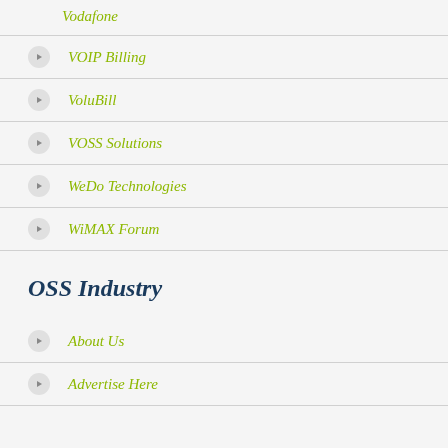Vodafone
VOIP Billing
VoluBill
VOSS Solutions
WeDo Technologies
WiMAX Forum
OSS Industry
About Us
Advertise Here